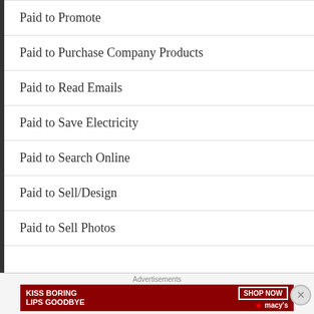Paid to Promote
Paid to Purchase Company Products
Paid to Read Emails
Paid to Save Electricity
Paid to Search Online
Paid to Sell/Design
Paid to Sell Photos
[Figure (other): Macy's advertisement banner: 'KISS BORING LIPS GOODBYE' with SHOP NOW button and Macy's logo star]